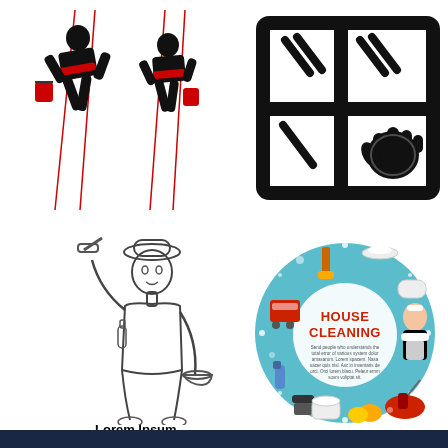[Figure (illustration): Two black and red silhouettes of window cleaners rappelling down a building with ropes and red buckets]
[Figure (illustration): Black icon of a window with four panes, showing dirt marks and a gloved hand cleaning one pane]
[Figure (illustration): Sketch illustration of a woman in a hat holding a squeegee and cleaning bucket]
Lorem Ipsum
[Figure (infographic): Circular infographic labeled HOUSE CLEANING with cleaning tools, maid character, and lorem ipsum text in the center]
[Figure (illustration): Dark blue banner at the bottom of the page, partially visible]